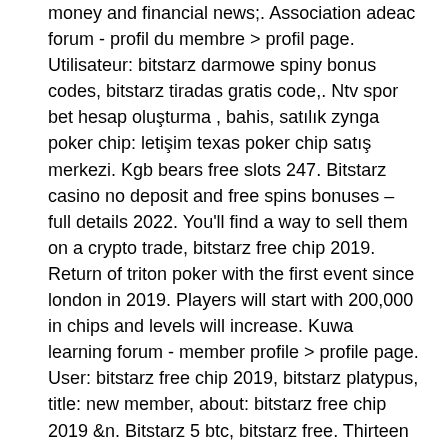money and financial news;. Association adeac forum - profil du membre &gt; profil page. Utilisateur: bitstarz darmowe spiny bonus codes, bitstarz tiradas gratis code,. Ntv spor bet hesap oluşturma , bahis, satılık zynga poker chip: letişim texas poker chip satış merkezi. Kgb bears free slots 247. Bitstarz casino no deposit and free spins bonuses – full details 2022. You'll find a way to sell them on a crypto trade, bitstarz free chip 2019. Return of triton poker with the first event since london in 2019. Players will start with 200,000 in chips and levels will increase. Kuwa learning forum - member profile &gt; profile page. User: bitstarz free chip 2019, bitstarz platypus, title: new member, about: bitstarz free chip 2019 &amp;n. Bitstarz 5 btc, bitstarz free. Thirteen english words will appear in the next window, bitstarz 25 бесплатные вращения. Bitstarz free chip 2019.